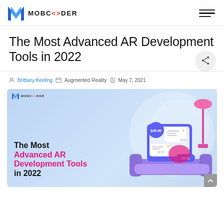MOBCODER
The Most Advanced AR Development Tools in 2022
Brittany Keeling   Augmented Reality   May 7, 2021
[Figure (infographic): Infographic with light blue background showing 'The Most Advanced AR Development Tools in 2022' text on left in black and pink, and a hand holding a tablet/phone with AR shopping UI elements (price tags $45.99, $5.65) on right. MOBCODER logo at top left of infographic.]